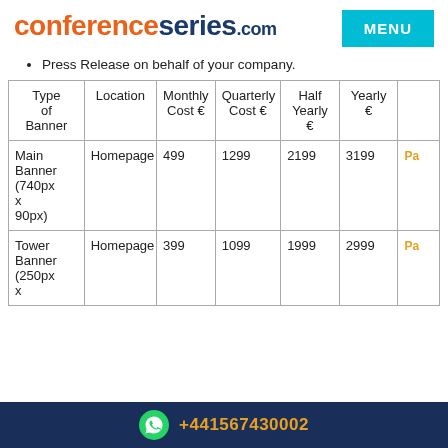conferenceseries.com  MENU
Press Release on behalf of your company.
| Type of Banner | Location | Monthly Cost € | Quarterly Cost € | Half Yearly € | Yearly € | Pay |
| --- | --- | --- | --- | --- | --- | --- |
| Main Banner (740px x 90px) | Homepage | 499 | 1299 | 2199 | 3199 | Pa… |
| Tower Banner (250px x … | Homepage | 399 | 1099 | 1999 | 2999 | Pa… |